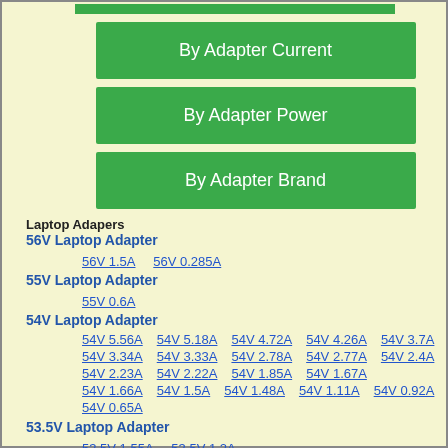[Figure (other): Green button: By Adapter Current]
[Figure (other): Green button: By Adapter Power]
[Figure (other): Green button: By Adapter Brand]
Laptop Adapers
56V Laptop Adapter
56V 1.5A    56V 0.285A
55V Laptop Adapter
55V 0.6A
54V Laptop Adapter
54V 5.56A  54V 5.18A  54V 4.72A  54V 4.26A  54V 3.7A  54V 3.34A  54V 3.33A  54V 2.78A  54V 2.77A  54V 2.4A  54V 2.23A  54V 2.22A  54V 1.85A  54V 1.67A  54V 1.66A  54V 1.5A  54V 1.48A  54V 1.11A  54V 0.92A  54V 0.65A
53.5V Laptop Adapter
53.5V 1.55A    53.5V 1.2A
53V Laptop Adapter